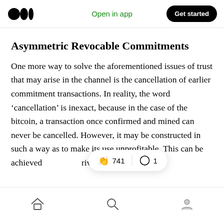Open in app | Get started
Asymmetric Revocable Commitments
One more way to solve the aforementioned issues of trust that may arise in the channel is the cancellation of earlier commitment transactions. In reality, the word ‘cancellation’ is inexact, because in the case of the bitcoin, a transaction once confirmed and mined can never be cancelled. However, it may be constructed in such a way as to make its use unprofitable. This can be achieved … riven a revocation key.
741 claps | 1 comment